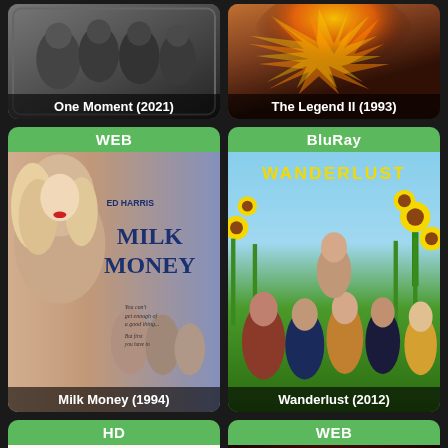[Figure (photo): Movie poster card for One Moment (2021) - top left, dark/grey tones with group of people]
One Moment (2021)
[Figure (photo): Movie poster card for The Legend II (1993) - top right, fiery explosion tones]
The Legend II (1993)
[Figure (photo): Movie poster card for Milk Money (1994) - WEB badge green, Ed Harris, Milk Money text, blonde woman]
Milk Money (1994)
[Figure (photo): Movie poster card for Wanderlust (2012) - BluRay badge green, Wanderlust title in yellow, sunflower field, group of people]
Wanderlust (2012)
[Figure (photo): Movie poster card - HD badge green, Married to the Mob styled poster, woman in red polka dot dress]
[Figure (photo): Movie poster card - WEB badge green, horror-style floating heads on red background]